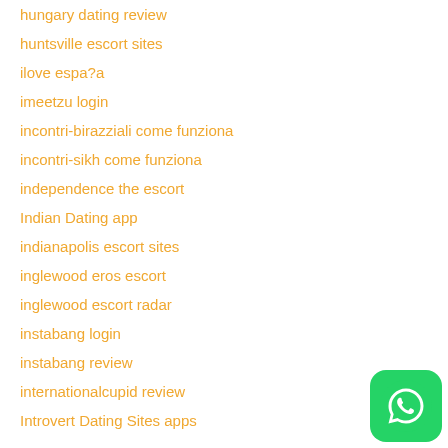hungary dating review
huntsville escort sites
ilove espa?a
imeetzu login
incontri-birazziali come funziona
incontri-sikh come funziona
independence the escort
Indian Dating app
indianapolis escort sites
inglewood eros escort
inglewood escort radar
instabang login
instabang review
internationalcupid review
Introvert Dating Sites apps
[Figure (logo): WhatsApp green rounded square button with white phone handset icon]